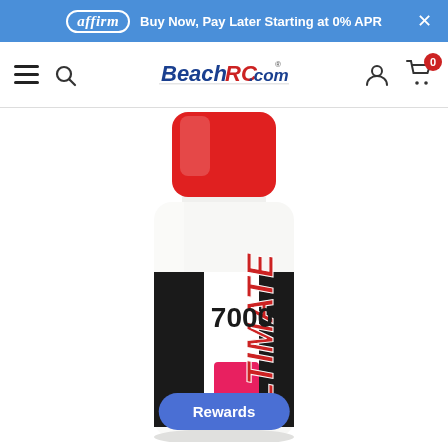affirm  Buy Now, Pay Later Starting at 0% APR  ×
[Figure (logo): BeachRC.com website navigation bar with hamburger menu, search icon, BeachRC.com logo, account icon, and cart icon showing 0 items]
[Figure (photo): Ultimate Racing silicone oil bottle with red cap, 7000 weight, black label with red and white branding, white background]
Rewards